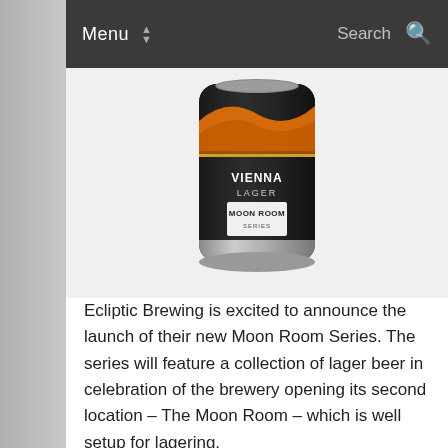Menu | Search
[Figure (photo): A dark beer can labeled 'Vienna Lager - Moon Room Series' with orange and gold graphic design on a dark background, silver bottom ring visible]
Ecliptic Brewing is excited to announce the launch of their new Moon Room Series. The series will feature a collection of lager beer in celebration of the brewery opening its second location – The Moon Room – which is well setup for lagering.
The Moon Room Series was an idea born from Ecliptic's Owner and Brewmaster, John Harris. It showcases a brand-new label design from creative agency Sasquatch, and it's a dark and moody vibe that matches the physical Moon Room location in Southeast Portland. Says